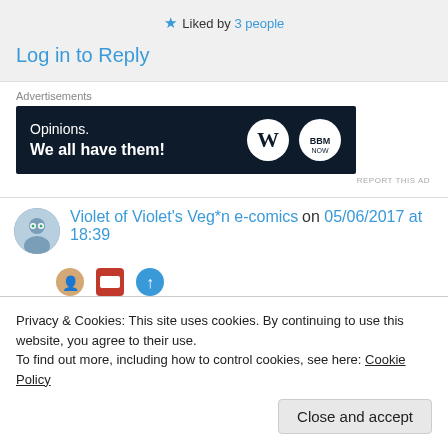★ Liked by 3 people
Log in to Reply
Advertisements
[Figure (illustration): WordPress advertisement banner with dark background, text 'Opinions. We all have them!' with WordPress and BBM logos]
REPORT THIS AD
Violet of Violet's Veg*n e-comics on 05/06/2017 at 18:39
Privacy & Cookies: This site uses cookies. By continuing to use this website, you agree to their use.
To find out more, including how to control cookies, see here: Cookie Policy
Close and accept